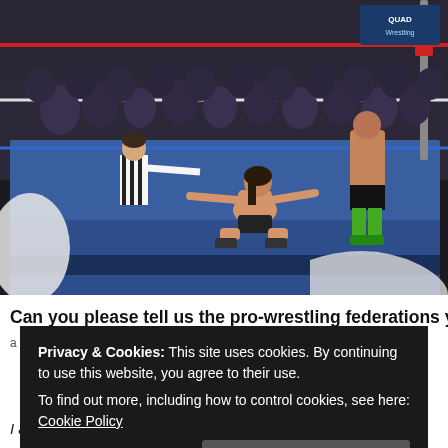[Figure (photo): A professional wrestling match inside a ring with red ropes and blue mat. A shirtless wrestler is seated on the mat with arms outstretched, a referee in black and white stripes stands nearby, another wrestler in green boots is visible, and an audience fills the background.]
Can you please tell us the pro-wrestling federations you
I am currently working for Compound Pro,
Privacy & Cookies: This site uses cookies. By continuing to use this website, you agree to their use. To find out more, including how to control cookies, see here: Cookie Policy